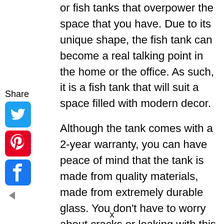or fish tanks that overpower the space that you have. Due to its unique shape, the fish tank can become a real talking point in the home or the office. As such, it is a fish tank that will suit a space filled with modern decor.
Although the tank comes with a 2-year warranty, you can have peace of mind that the tank is made from quality materials, made from extremely durable glass. You don't have to worry about cracks or leaking with this. However, the warranty means that you are protected if there are any manufacturing issues, including if there